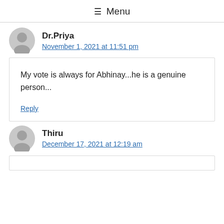≡ Menu
Dr.Priya
November 1, 2021 at 11:51 pm
My vote is always for Abhinay...he is a genuine person...
Reply
Thiru
December 17, 2021 at 12:19 am